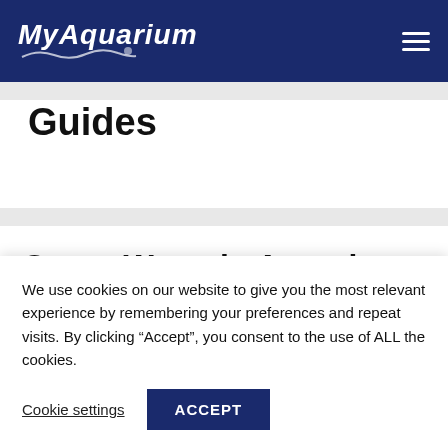MyAquarium
Guides
Green Water in Aquarium
We use cookies on our website to give you the most relevant experience by remembering your preferences and repeat visits. By clicking “Accept”, you consent to the use of ALL the cookies.
Cookie settings  ACCEPT